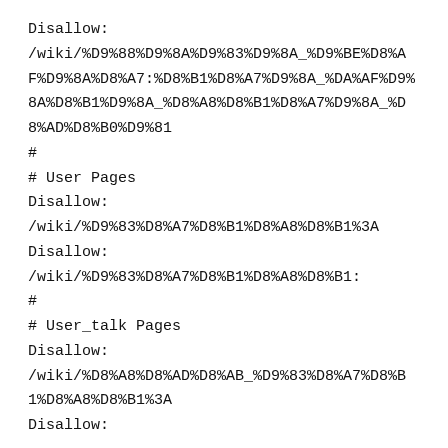Disallow:
/wiki/%D9%88%D9%8A%D9%83%D9%8A_%D9%BE%D8%AF%D9%8A%D8%A7:%D8%B1%D8%A7%D9%8A_%DA%AF%D9%8A%D8%B1%D9%8A_%D8%A8%D8%B1%D8%A7%D9%8A_%D8%AD%D8%B0%D9%81
#
# User Pages
Disallow:
/wiki/%D9%83%D8%A7%D8%B1%D8%A8%D8%B1%3A
Disallow:
/wiki/%D9%83%D8%A7%D8%B1%D8%A8%D8%B1:
#
# User_talk Pages
Disallow:
/wiki/%D8%A8%D8%AD%D8%AB_%D9%83%D8%A7%D8%B1%D8%A8%D8%B1%3A
Disallow: